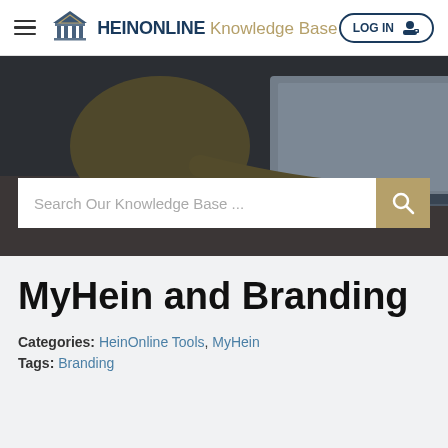HEINONLINE Knowledge Base — LOG IN
[Figure (photo): Person typing on a laptop at a wooden desk, with a dark overlay. Contains a search bar reading 'Search Our Knowledge Base ...' with a gold search button.]
MyHein and Branding
Categories: HeinOnline Tools, MyHein
Tags: Branding